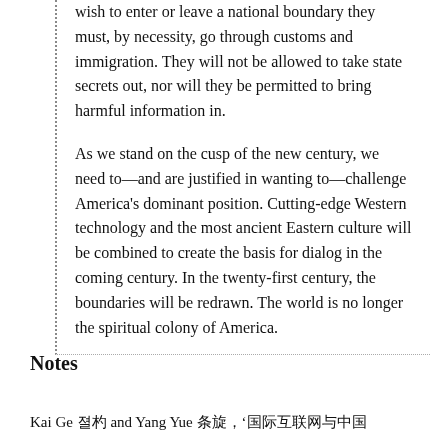wish to enter or leave a national boundary they must, by necessity, go through customs and immigration. They will not be allowed to take state secrets out, nor will they be permitted to bring harmful information in.
As we stand on the cusp of the new century, we need to—and are justified in wanting to—challenge America's dominant position. Cutting-edge Western technology and the most ancient Eastern culture will be combined to create the basis for dialog in the coming century. In the twenty-first century, the boundaries will be redrawn. The world is no longer the spiritual colony of America.
Notes
Kai Ge 凯歌 and Yang Yue 杨越, '…'